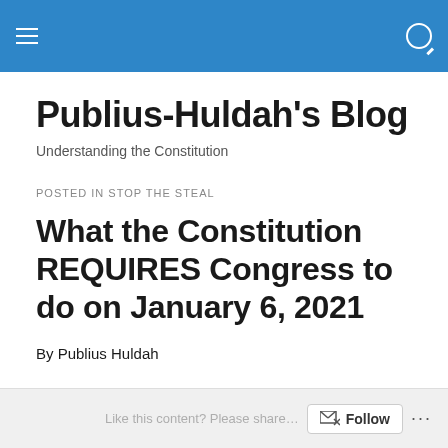Publius-Huldah's Blog (navigation bar)
Publius-Huldah's Blog
Understanding the Constitution
POSTED IN STOP THE STEAL
What the Constitution REQUIRES Congress to do on January 6, 2021
By Publius Huldah
Follow ...